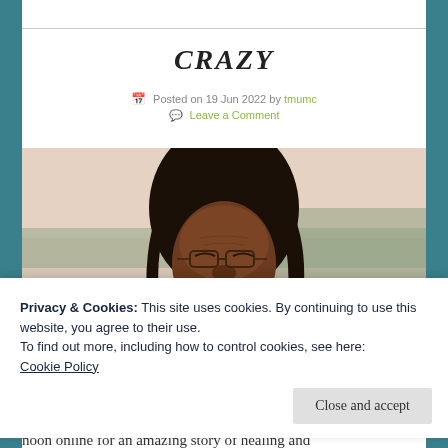CRAZY
Posted on 19 Jun 2022 by tmumc
Leave a Comment
[Figure (photo): An elderly Black woman with long dark hair and glasses, eyes closed, face tilted slightly upward, photographed outdoors against a soft blurred background of landscape and sky.]
Privacy & Cookies: This site uses cookies. By continuing to use this website, you agree to their use.
To find out more, including how to control cookies, see here:
Cookie Policy
Close and accept
noon online for an amazing story of healing and